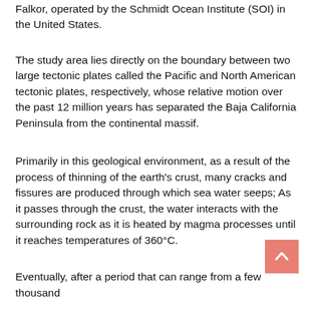Falkor, operated by the Schmidt Ocean Institute (SOI) in the United States.
The study area lies directly on the boundary between two large tectonic plates called the Pacific and North American tectonic plates, respectively, whose relative motion over the past 12 million years has separated the Baja California Peninsula from the continental massif.
Primarily in this geological environment, as a result of the process of thinning of the earth's crust, many cracks and fissures are produced through which sea water seeps; As it passes through the crust, the water interacts with the surrounding rock as it is heated by magma processes until it reaches temperatures of 360°C.
Eventually, after a period that can range from a few thousand